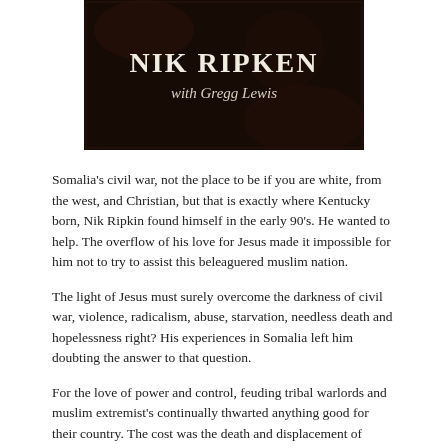[Figure (illustration): Dark book cover image with the text 'NIK RIPKEN' in large serif font and 'with Gregg Lewis' in italic below on a dark background.]
Somalia's civil war, not the place to be if you are white, from the west, and Christian, but that is exactly where Kentucky born, Nik Ripkin found himself in the early 90's. He wanted to help. The overflow of his love for Jesus made it impossible for him not to try to assist this beleaguered muslim nation.
The light of Jesus must surely overcome the darkness of civil war, violence, radicalism, abuse, starvation, needless death and hopelessness right? His experiences in Somalia left him doubting the answer to that question.
For the love of power and control, feuding tribal warlords and muslim extremist's continually thwarted anything good for their country. The cost was the death and displacement of millions of their countrymen.